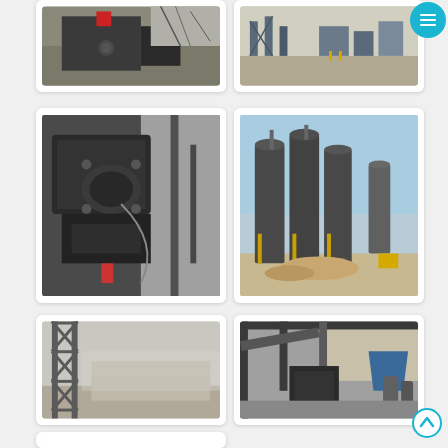[Figure (photo): Industrial machinery/crane equipment at a construction or factory site, dark metal components visible]
[Figure (photo): Industrial factory site with scaffolding and equipment against sky, construction in progress]
[Figure (photo): Close-up of heavy industrial milling or crushing machinery, dark gray metal parts]
[Figure (photo): Industrial site with large cylindrical silos/storage tanks, construction materials on ground]
[Figure (photo): Steel lattice structure/tower at industrial facility, mist or fog in background]
[Figure (photo): Interior of industrial factory showing machinery, conveyors, metal structures and blue hopper]
[Figure (photo): Partial view of industrial building with steel roof structure visible against blue sky]